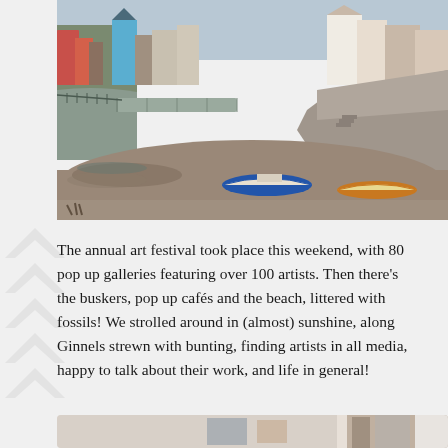[Figure (photo): A coastal harbour town at low tide, with two small boats resting on the muddy harbour floor. Colourful houses and buildings visible in the background including a prominent blue building. Stone harbour walls visible on both sides. A bridge crosses the inlet.]
The annual art festival took place this weekend, with 80 pop up galleries featuring over 100 artists. Then there's the buskers, pop up cafés and the beach, littered with fossils! We strolled around in (almost) sunshine, along Ginnels strewn with bunting, finding artists in all media, happy to talk about their work, and life in general!
[Figure (photo): Partial view of a building or shop front, showing what appears to be artwork or items displayed, with walls visible.]